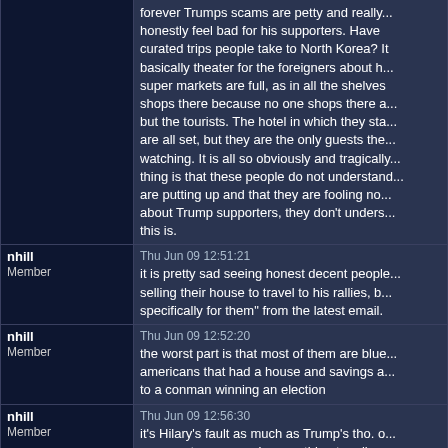| User | Message |
| --- | --- |
|  | forever Trumps scams are petty and really... honestly feel bad for his supporters. Have you seen the curated trips people take to North Korea? It is basically theater for the foreigners about how the super markets are full, as in all the shelves are full of shops there because no one shops there a... but the tourists. The hotel in which they sta... are all set, but they are the only guests the... watching. It is all so obviously and tragically... thing is that these people do not understand... are putting up and that they are fooling no... about Trump supporters, they don't underst... this is. |
| nhill
Member | Thu Jun 09 12:51:21
it is pretty sad seeing honest decent people... selling their house to travel to his rallies, b... specifically for them" from the latest email. |
| nhill
Member | Thu Jun 09 12:52:20
the worst part is that most of them are blue... americans that had a house and savings a... to a conman winning an election |
| nhill
Member | Thu Jun 09 12:56:30
it's Hilary's fault as much as Trump's tho. o... opponent gave people something to rally a... |
| tumbleweed
the wanderer | Thu Jun 09 13:46:35
"they don't understand what a poor conjob...

& it's been soooo obvious from day one, ev... present...

Christians should be using his mysterious... (rather than worshipping his mysteriously... |